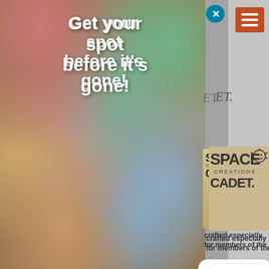[Figure (screenshot): Website screenshot showing a SpaceCadet Creations yarn subscription popup overlay with colorful yarn photography, a 'Get your spot before it's gone!' headline, body text about SpaceMonster Club subscriptions, a teal 'Click here now!' button, a Sumo badge, and an iOS notification popup in the lower right with text about iOS device color accuracy, plus a partially visible SpaceCadet logo card on the right side.]
Get your spot before it's gone!
The SpaceMonster Club is open to new subscriptions ...but closes soon.
Click here now!
you're using an iOS device...
ly really impacts how accurate our ? And sadly, not always in a good way.
eive to be what you were expecting, so earn more...
n How iOS Affects Colour
SUMO
ET
crafted especially for members of the